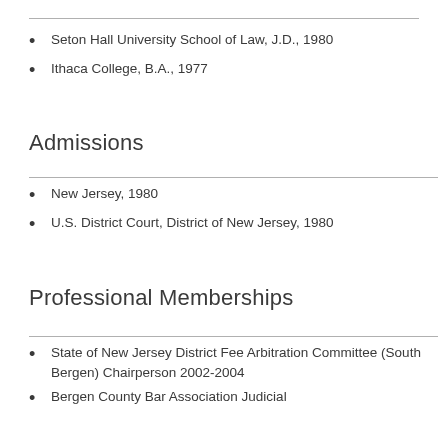Seton Hall University School of Law, J.D., 1980
Ithaca College, B.A., 1977
Admissions
New Jersey, 1980
U.S. District Court, District of New Jersey, 1980
Professional Memberships
State of New Jersey District Fee Arbitration Committee (South Bergen) Chairperson 2002-2004
Bergen County Bar Association Judicial